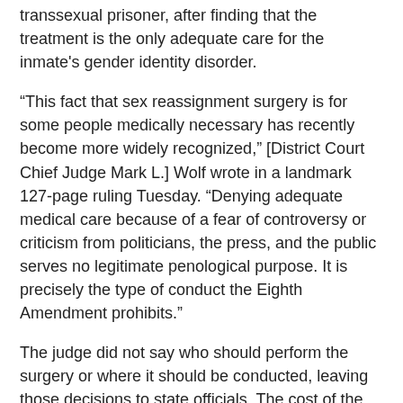transsexual prisoner, after finding that the treatment is the only adequate care for the inmate's gender identity disorder.
“This fact that sex reassignment surgery is for some people medically necessary has recently become more widely recognized,” [District Court Chief Judge Mark L.] Wolf wrote in a landmark 127-page ruling Tuesday. “Denying adequate medical care because of a fear of controversy or criticism from politicians, the press, and the public serves no legitimate penological purpose. It is precisely the type of conduct the Eighth Amendment prohibits.”
The judge did not say who should perform the surgery or where it should be conducted, leaving those decisions to state officials. The cost of the surgery ranges from $7,000 to more than $50,000, depending on the extent of cosmetic work, according to informational surgery and transgender websites.
It was not clear how much postsurgery care would have to be provided, though the state would bear that cost as well.
To read the entire article, please CLICK HERE